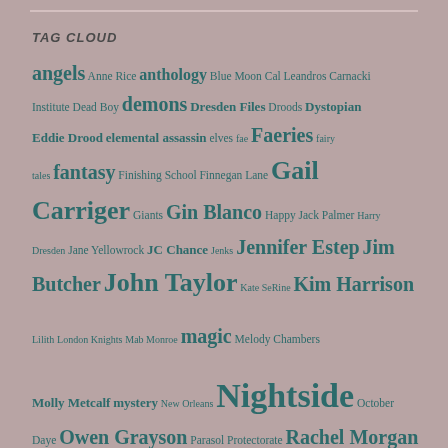TAG CLOUD
angels Anne Rice anthology Blue Moon Cal Leandros Carnacki Institute Dead Boy demons Dresden Files Droods Dystopian Eddie Drood elemental assassin elves fae Faeries fairy tales fantasy Finishing School Finnegan Lane Gail Carriger Giants Gin Blanco Happy Jack Palmer Harry Dresden Jane Yellowrock JC Chance Jenks Jennifer Estep Jim Butcher John Taylor Kate SeRine Kim Harrison Lilith London Knights Mab Monroe magic Melody Chambers Molly Metcalf mystery New Orleans Nightside October Daye Owen Grayson Parasol Protectorate Rachel Morgan recommendations review reviews Richard Kadrey Robin Goodfellow Rob Thurman Sandman Slim sci-fi Seanan